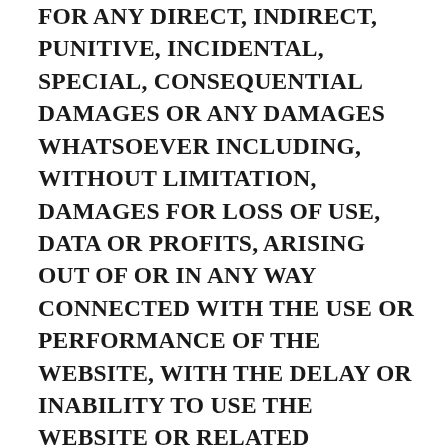FOR ANY DIRECT, INDIRECT, PUNITIVE, INCIDENTAL, SPECIAL, CONSEQUENTIAL DAMAGES OR ANY DAMAGES WHATSOEVER INCLUDING, WITHOUT LIMITATION, DAMAGES FOR LOSS OF USE, DATA OR PROFITS, ARISING OUT OF OR IN ANY WAY CONNECTED WITH THE USE OR PERFORMANCE OF THE WEBSITE, WITH THE DELAY OR INABILITY TO USE THE WEBSITE OR RELATED SERVICES, THE PROVISION OF OR FAILURE TO PROVIDE SERVICES, OR FOR ANY INFORMATION, SOFTWARE, PRODUCTS, SERVICES AND RELATED GRAPHICS OBTAINED THROUGH THE WEBSITE, OR OTHERWISE ARISING OUT OF THE USE OF THE WEBSITE, WHETHER BASED ON CONTRACT, TORT, NEGLIGENCE, STRICT LIABILITY OR OTHERWISE,